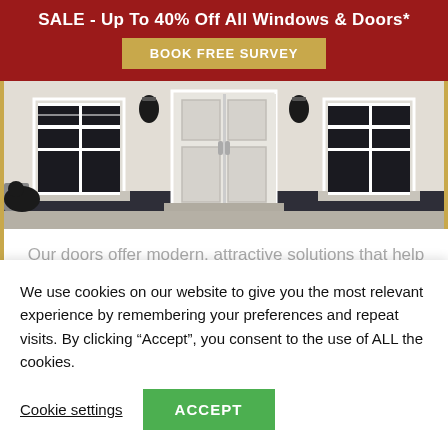SALE - Up To 40% Off All Windows & Doors*
BOOK FREE SURVEY
[Figure (photo): Exterior of a house showing white French doors in the center flanked by two sash windows, with wall lantern lights on either side, on a white/cream rendered wall with a dark plinth.]
Our doors offer modern, attractive solutions that help keep your home warmer, quieter and more secure without compromising on elegance. Our
We use cookies on our website to give you the most relevant experience by remembering your preferences and repeat visits. By clicking “Accept”, you consent to the use of ALL the cookies.
Cookie settings
ACCEPT